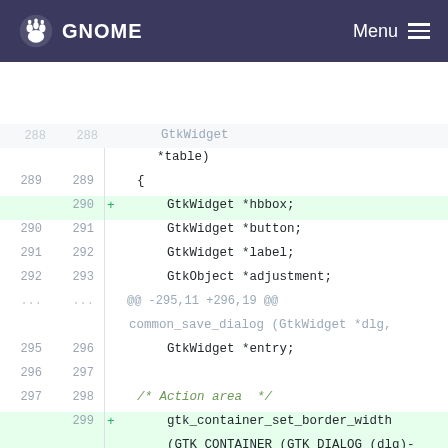GNOME  Menu
[Figure (screenshot): Code diff view showing changes to a C source file, with line numbers, added lines highlighted in green, and diff markers. Lines shown include GtkWidget declarations, a hunk header for common_save_dialog, and new lines adding gtk_container_set_border_width, gtk_box_set_homogeneous, hbbox = gtk_hbutton_box_new(), and gtk_button_box_set_spacing calls.]